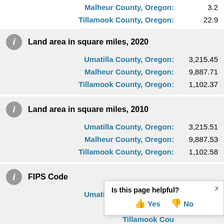Malheur County, Oregon: 3.2
Tillamook County, Oregon: 22.9
Land area in square miles, 2020
Umatilla County, Oregon: 3,215.45
Malheur County, Oregon: 9,887.71
Tillamook County, Oregon: 1,102.37
Land area in square miles, 2010
Umatilla County, Oregon: 3,215.51
Malheur County, Oregon: 9,887.53
Tillamook County, Oregon: 1,102.58
FIPS Code
Umatilla County, Oregon: 41059
Malheur County, Oregon: (partially visible)
Tillamook County, Oregon: (partially visible)